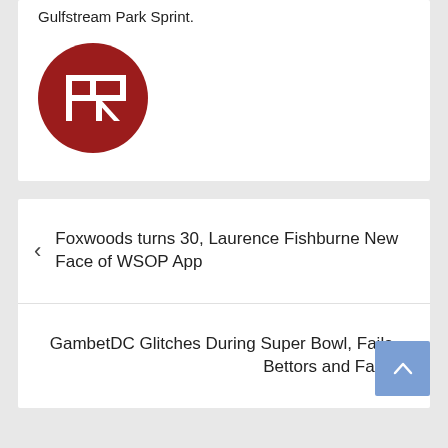Gulfstream Park Sprint.
[Figure (logo): PR logo — white letters P and R on a dark red circle]
Foxwoods turns 30, Laurence Fishburne New Face of WSOP App
GambetDC Glitches During Super Bowl, Fails Bettors and Fans